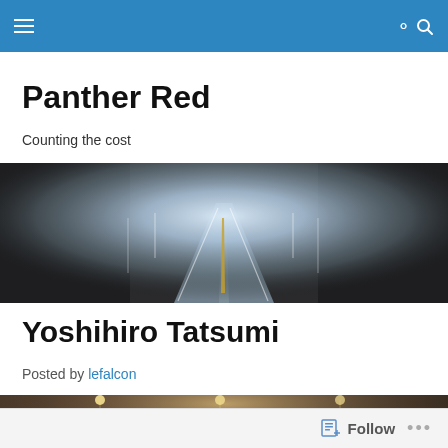Panther Red — navigation bar
Panther Red
Counting the cost
[Figure (photo): A misty two-lane road stretching into the distance, flanked by dark trees on both sides, with a glowing light ahead.]
Yoshihiro Tatsumi
Posted by lefalcon
[Figure (photo): A crowd of people seated or standing, viewed from behind, in an indoor setting with warm lighting.]
Follow  ...